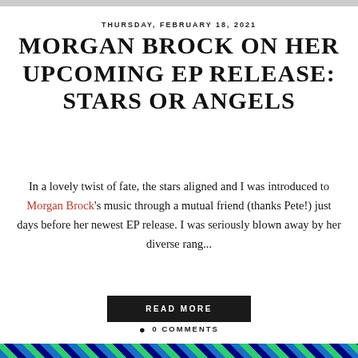THURSDAY, FEBRUARY 18, 2021
MORGAN BROCK ON HER UPCOMING EP RELEASE: STARS OR ANGELS
In a lovely twist of fate, the stars aligned and I was introduced to Morgan Brock's music through a mutual friend (thanks Pete!) just days before her newest EP release. I was seriously blown away by her diverse rang...
READ MORE
0 COMMENTS